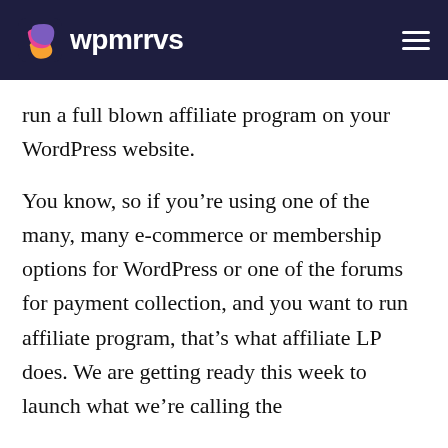wpmrrvs
run a full blown affiliate program on your WordPress website.
You know, so if you’re using one of the many, many e-commerce or membership options for WordPress or one of the forums for payment collection, and you want to run affiliate program, that’s what affiliate LP does. We are getting ready this week to launch what we’re calling the